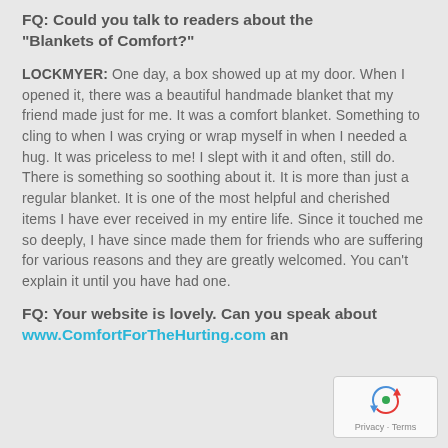FQ: Could you talk to readers about the "Blankets of Comfort?"
LOCKMYER: One day, a box showed up at my door. When I opened it, there was a beautiful handmade blanket that my friend made just for me. It was a comfort blanket. Something to cling to when I was crying or wrap myself in when I needed a hug. It was priceless to me! I slept with it and often, still do. There is something so soothing about it. It is more than just a regular blanket. It is one of the most helpful and cherished items I have ever received in my entire life. Since it touched me so deeply, I have since made them for friends who are suffering for various reasons and they are greatly welcomed. You can't explain it until you have had one.
FQ: Your website is lovely. Can you speak about www.ComfortForTheHurting.com and...